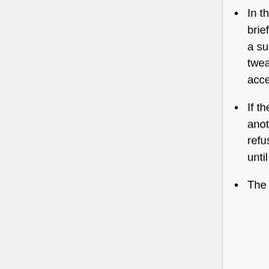In the first round of play, the contestant chooses 6 of the remaining 25 briefcases to open. Then the "banker" offers to buy the contestant's briefcase for a sum based on its expected value, given the information now at hand, but tweaked sometimes to make the game more interesting. The contestant can accept ("Deal") or opt to continue play ("No Deal").
If the game continues, 5 more briefcases are opened in the second round, another offer is made, and accepted or refused. If the contestant continues to refuse the banker's offers, subsequent rounds open 4, 3, 2, 1, 1, 1, 1 briefcases until only two are left.
The banker makes one last offer: the